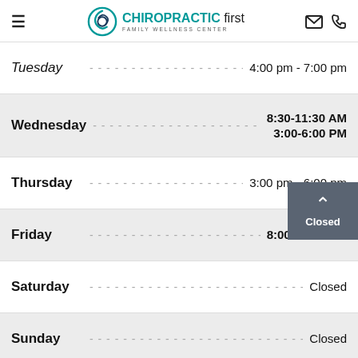[Figure (logo): Chiropractic First Family Wellness Center logo with teal circular icon]
| Day | Hours |
| --- | --- |
| Tuesday | 4:00 pm - 7:00 pm |
| Wednesday | 8:30-11:30 AM
3:00-6:00 PM |
| Thursday | 3:00 pm - 6:00 pm |
| Friday | 8:00-11:30 AM |
| Saturday | Closed |
| Sunday | Closed |